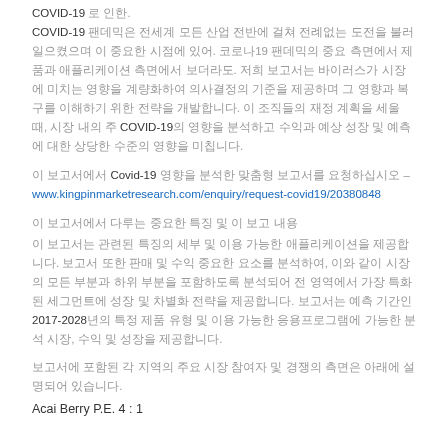COVID-19 로 인한. COVID-19 팬데믹은 전세계 모든 산업 전반에 걸쳐 전례없는 도전을 불러일으켰으며 이 중요한 시점에 있어. 코로나19 팬데믹의 중요 측면에서 제품과 애플리케이션 측면에서 보더라도. 저희 보고서는 바이러스가 시장에 미치는 영향을 계량화하여 의사결정의 기준을 제공하며 그 영향과 복구를 이해하기 위한 전략을 개발합니다. 이 조직들의 재정 계획을 세울 때, 시장 내의 주 COVID-19의 영향을 분석하고 수익과 예상 성장 및 예측에 대한 상당한 수준의 영향을 미칩니다.
이 보고서에서 Covid-19 영향을 분석한 맞춤형 보고서를 요청하십시오 – www.kingpinmarketresearch.com/enquiry/request-covid19/20380848
이 보고서에서 다루는 중요한 특징 및 이 보고 내용
이 보고서는 관련된 특징의 세부 및 이용 가능한 애플리케이션을 제공합니다. 보고서 또한 판매 및 수익 중요한 요소를 분석하여, 이와 같이 시장의 모든 부분과 하위 부분을 포함하도록 분석되어 전 영역에서 가장 특화된 세그먼트에 성장 및 차별화 전략을 제공합니다. 보고서는 예측 기간인 2017-2028년의 특정 제품 유형 및 이용 가능한 응용프로그램에 가능한 분석 시장, 수익 및 성장을 제공합니다.
보고서에 포함된 각 지역의 주요 시장 참여자 및 경쟁의 측면은 아래에 설명되어 있습니다.
Acai Berry P.E. 4 : 1